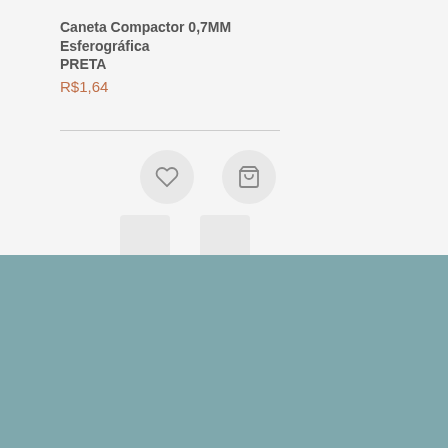Caneta Compactor 0,7MM Esferográfica PRETA
R$1,64
[Figure (illustration): Two circular icon buttons: a heart (wishlist) icon and a shopping bag (cart) icon, on a light grey background]
Usamos cookies na nossa loja para fornecer a experiência mais relevante, lembrando suas preferências e visitas repetidas. Ao clicar em "Aceitar Todos", concorda com a utilização de TODOS os cookies.
Configuração de Cookies
Aceitar Todos